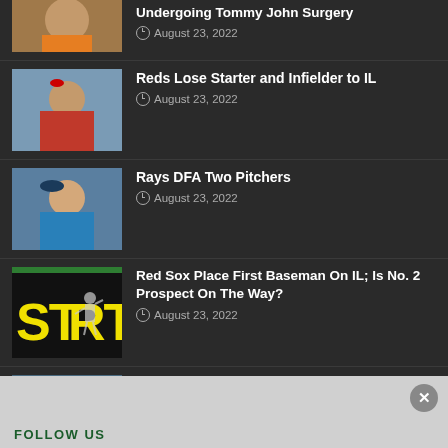[Figure (photo): Partial baseball player photo at top]
Undergoing Tommy John Surgery
August 23, 2022
[Figure (photo): Reds pitcher throwing ball]
Reds Lose Starter and Infielder to IL
August 23, 2022
[Figure (photo): Rays pitcher throwing ball]
Rays DFA Two Pitchers
August 23, 2022
[Figure (illustration): START text graphic with baseball player]
Red Sox Place First Baseman On IL; Is No. 2 Prospect On The Way?
August 23, 2022
[Figure (photo): Boston Red Sox pitcher]
Boston Red Sox Pitcher Officially Placed On Injured List
August 23, 2022
FOLLOW US